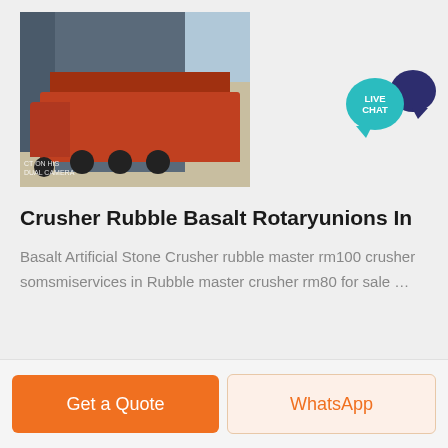[Figure (photo): A red dump truck loaded with material parked in front of a large industrial metal building. The ground is sandy/dirt. Watermark text reads 'CT ON HIS DUAL CAMERA'.]
[Figure (other): Live Chat icon — teal speech bubble with 'LIVE CHAT' text overlapping a dark navy speech bubble]
Crusher Rubble Basalt Rotaryunions In
Basalt Artificial Stone Crusher rubble master rm100 crusher somsmiservices in Rubble master crusher rm80 for sale …
Get a Quote
WhatsApp